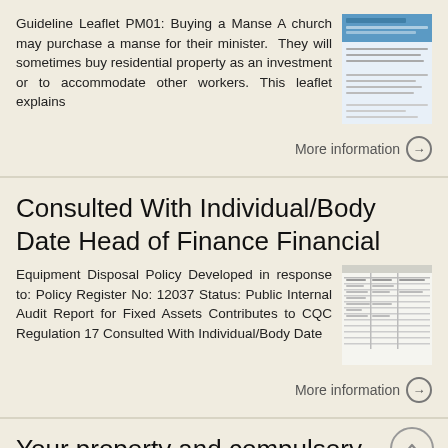Guideline Leaflet PM01: Buying a Manse A church may purchase a manse for their minister. They will sometimes buy residential property as an investment or to accommodate other workers. This leaflet explains
More information →
Consulted With Individual/Body Date Head of Finance Financial
Equipment Disposal Policy Developed in response to: Policy Register No: 12037 Status: Public Internal Audit Report for Fixed Assets Contributes to CQC Regulation 17 Consulted With Individual/Body Date
More information →
Your property and compulsory purchase